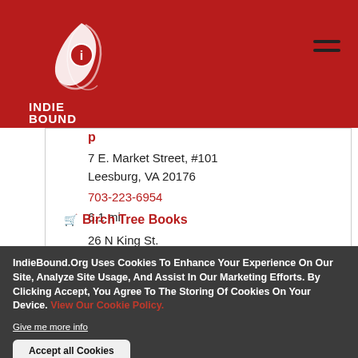[Figure (logo): IndieBound logo: white feather/book graphic with INDIE BOUND text below on red background]
7 E. Market Street, #101
Leesburg, VA 20176
703-223-6954
6.1 mi
Birch Tree Books
26 N King St.
IndieBound.Org Uses Cookies To Enhance Your Experience On Our Site, Analyze Site Usage, And Assist In Our Marketing Efforts. By Clicking Accept, You Agree To The Storing Of Cookies On Your Device. View Our Cookie Policy.
Give me more info
Accept all Cookies